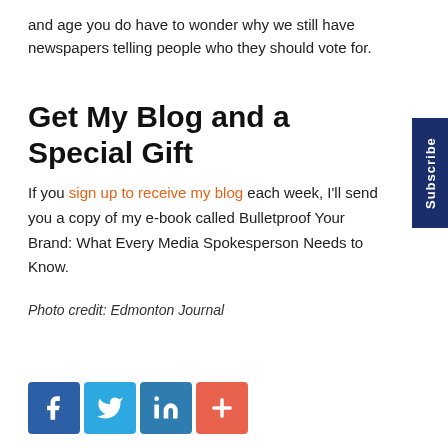and age you do have to wonder why we still have newspapers telling people who they should vote for.
Get My Blog and a Special Gift
If you sign up to receive my blog each week, I'll send you a copy of my e-book called Bulletproof Your Brand: What Every Media Spokesperson Needs to Know.
Photo credit: Edmonton Journal
[Figure (infographic): Social sharing icons: Facebook (blue), Twitter (light blue), LinkedIn (teal blue), Plus/share (orange-red)]